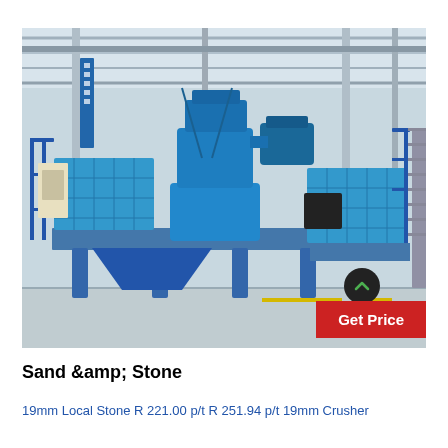[Figure (photo): Industrial blue vertical shaft impact (VSI) crusher machine on a platform inside a factory/warehouse, with overhead cranes and steel structure visible. A red 'Get Price' button overlay is in the bottom-right of the image, and a dark circular scroll-up arrow button is visible near bottom-right.]
Sand &amp; Stone
19mm Local Stone R 221.00 p/t R 251.94 p/t 19mm Crusher